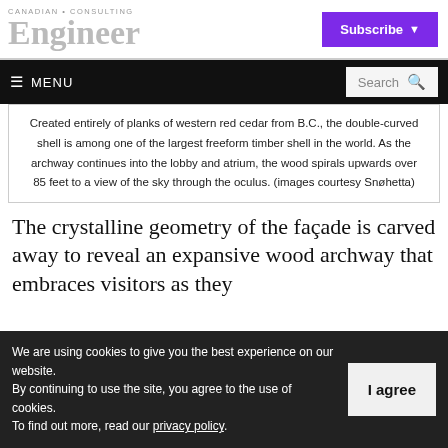Canadian Consulting Engineer — Subscribe
Created entirely of planks of western red cedar from B.C., the double-curved shell is among one of the largest freeform timber shell in the world. As the archway continues into the lobby and atrium, the wood spirals upwards over 85 feet to a view of the sky through the oculus. (images courtesy Snøhetta)
The crystalline geometry of the façade is carved away to reveal an expansive wood archway that embraces visitors as they
We are using cookies to give you the best experience on our website. By continuing to use the site, you agree to the use of cookies. To find out more, read our privacy policy.